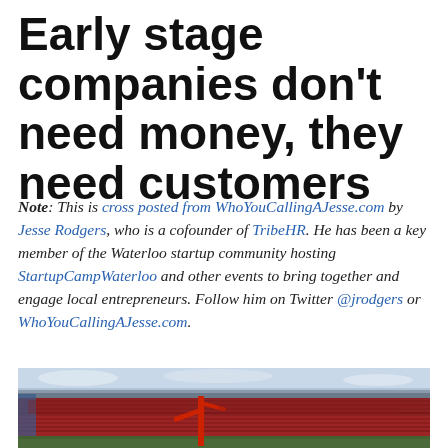Early stage companies don't need money, they need customers
Note: This is cross posted from WhoYouCallingAJesse.com by Jesse Rodgers, who is a cofounder of TribeHR. He has been a key member of the Waterloo startup community hosting StartupCampWaterloo and other events to bring together and engage local entrepreneurs. Follow him on Twitter @jrodgers or WhoYouCallingAJesse.com.
[Figure (photo): Aerial view of a large stadium filled with spectators, showing red seating sections and a red structure/crane on the field.]